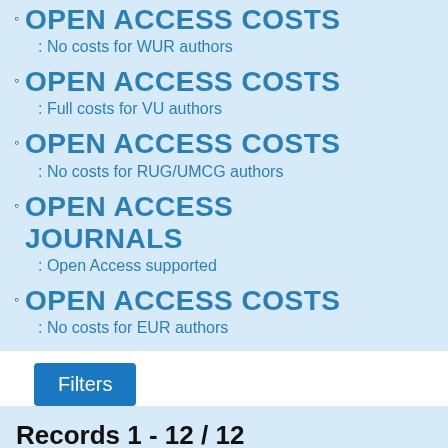OPEN ACCESS COSTS: No costs for WUR authors
OPEN ACCESS COSTS: Full costs for VU authors
OPEN ACCESS COSTS: No costs for RUG/UMCG authors
OPEN ACCESS JOURNALS: Open Access supported
OPEN ACCESS COSTS: No costs for EUR authors
Filters
Records 1 - 12 / 12
Sort by Title (Z-A)